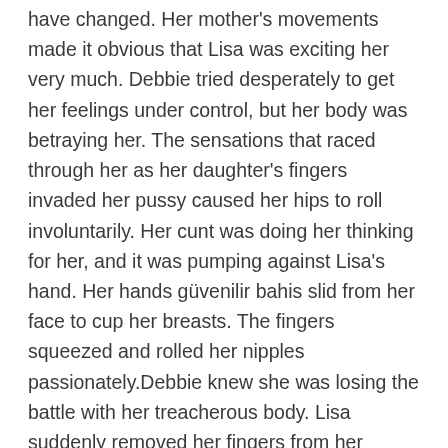have changed. Her mother's movements made it obvious that Lisa was exciting her very much. Debbie tried desperately to get her feelings under control, but her body was betraying her. The sensations that raced through her as her daughter's fingers invaded her pussy caused her hips to roll involuntarily. Her cunt was doing her thinking for her, and it was pumping against Lisa's hand. Her hands güvenilir bahis slid from her face to cup her breasts. The fingers squeezed and rolled her nipples passionately.Debbie knew she was losing the battle with her treacherous body. Lisa suddenly removed her fingers from her mother's pussy, and leaned forward to run her tongue into it, sliding it up and over her mother's clit. Her mother moaned loudly, giving up the fight, and letting her pussy have its way. Wrapping her long, lovely legs around Lisa's shoulders Debbie drew her face closer,